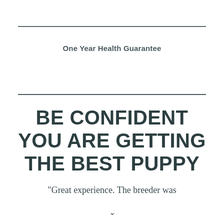One Year Health Guarantee
BE CONFIDENT YOU ARE GETTING THE BEST PUPPY
"Great experience. The breeder was